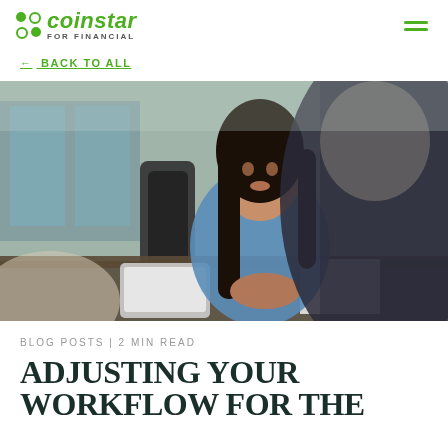Coinstar FOR FINANCIAL
← BACK TO ALL
[Figure (photo): A young woman with long dark hair wearing a blue top sits across a table in a modern office, hands clasped, appearing to speak with a man in a dark suit whose back is partially visible in the foreground. A tablet and papers are on the table.]
BLOG POSTS | 2 MIN READ
ADJUSTING YOUR WORKFLOW FOR THE